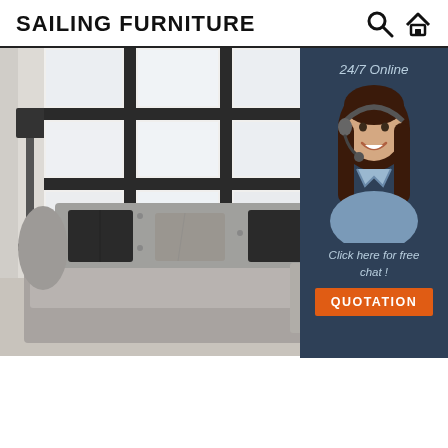SAILING FURNITURE
[Figure (photo): Interior photo of a gray tufted sectional sofa with dark throw pillows in a bright room with large black-framed windows and white curtains]
[Figure (infographic): 24/7 Online chat widget with a customer service representative (woman with headset), text 'Click here for free chat!' and an orange QUOTATION button]